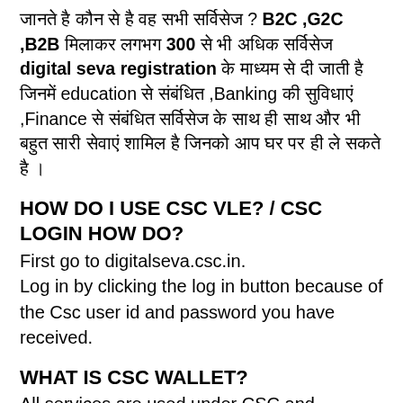जानते है कौन से है वह सभी सर्विसेज ? B2C ,G2C ,B2B मिलाकर लगभग 300 से भी अधिक सर्विसेज digital seva registration के माध्यम से दी जाती है जिनमें education से संबंधित ,Banking की सुविधाएं ,Finance से संबंधित सर्विसेज के साथ ही साथ और भी बहुत सारी सेवाएं शामिल है जिनको आप घर पर ही ले सकते है ।
HOW DO I USE CSC VLE? / CSC LOGIN HOW DO?
First go to digitalseva.csc.in.
Log in by clicking the log in button because of the Csc user id and password you have received.
WHAT IS CSC WALLET?
All services are used under CSC and whatever is paid over use of these services.
This payment is made through CSC wallet under CSC and Wallet is a bag under which physical